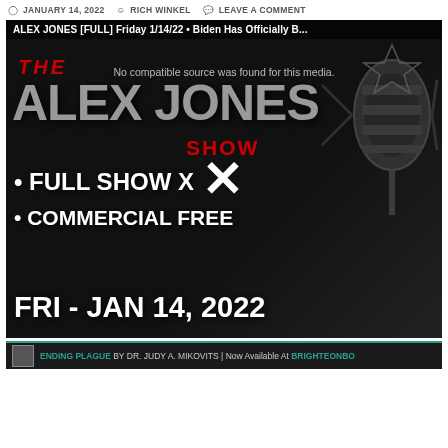JANUARY 14, 2022 | RICH WINKEL | LEAVE A COMMENT
[Figure (screenshot): Alex Jones Show video thumbnail with text: ALEX JONES [FULL] Friday 1/14/22 • Biden Has Officially... — No compatible source was found for this media. Large text: THE ALEX JONES SHOW • FULL SHOW X • COMMERCIAL FREE FRI - JAN 14, 2022. Microphone visible at right. Black background.]
ENDING PLAGUE BY DR. JUDY A. MIKOVITS | Now Available At BRIGHTEONBO...